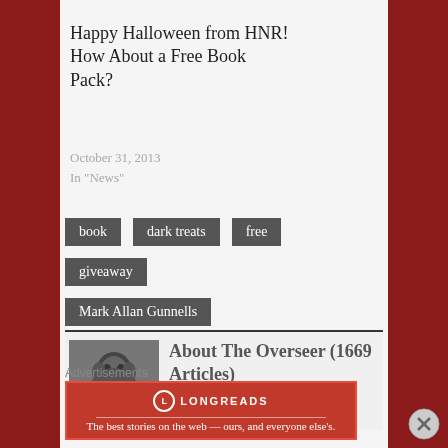Happy Halloween from HNR! How About a Free Book Pack?
October 31, 2013
In "News"
book
dark treats
free
giveaway
Mark Allan Gunnells
About The Overseer (1669 Articles)
Author of Say No to
Advertisements
[Figure (other): Longreads advertisement banner: The best stories on the web — ours, and everyone else's.]